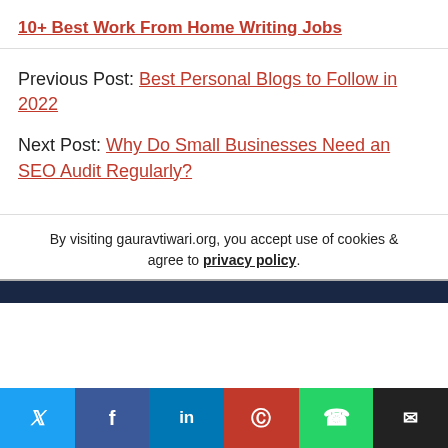10+ Best Work From Home Writing Jobs
Previous Post: Best Personal Blogs to Follow in 2022
Next Post: Why Do Small Businesses Need an SEO Audit Regularly?
By visiting gauravtiwari.org, you accept use of cookies & agree to privacy policy.
Social share bar: Twitter, Facebook, LinkedIn, Pinterest, WhatsApp, Email